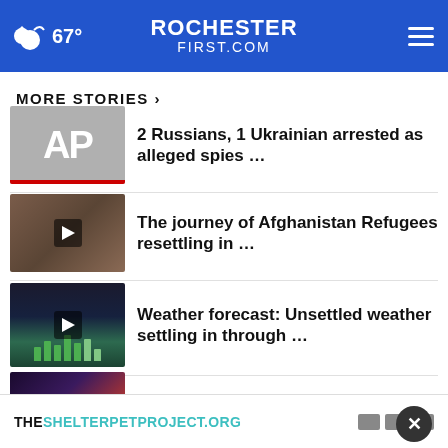67° ROCHESTER FIRST.COM
MORE STORIES ›
2 Russians, 1 Ukrainian arrested as alleged spies …
The journey of Afghanistan Refugees resettling in …
Weather forecast: Unsettled weather settling in through …
Pride of Ukraine: Usyk beats Joshua, keeps heavyweight …
… ntia
THESHELTERPETPROJECT.ORG